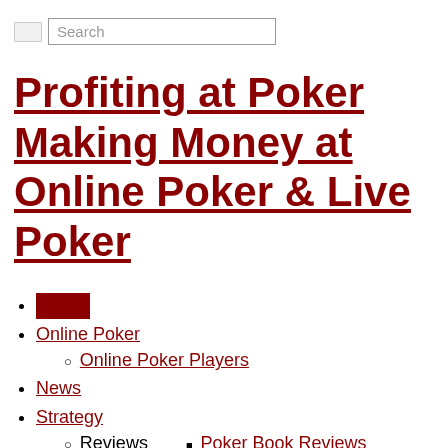Search
Profiting at Poker Making Money at Online Poker & Live Poker
[red block]
Online Poker
Online Poker Players
News
Strategy
Reviews
Poker Book Reviews
Poker on TV
Basics
Beginner's Guides
Advanced Guides
Training Videos